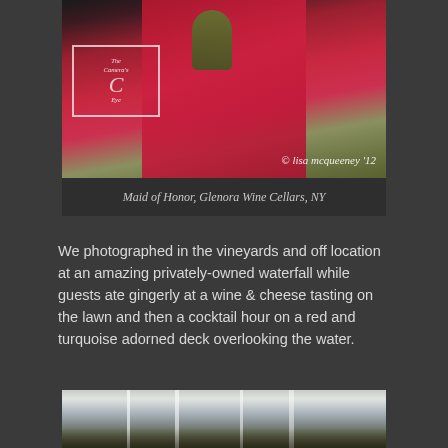[Figure (photo): Wedding photo showing a bridesmaid or maid of honor in a red dress holding a green bouquet, with a photographer's watermark 'The Camera's Eye' and copyright '© lisa mcqueeney '12']
Maid of Honor, Glenora Wine Cellars, NY
We photographed in the vineyards and off location at an amazing privately-owned waterfall while guests ate gingerly at a wine & cheese tasting on the lawn and then a cocktail hour on a red and turquoise adorned deck overlooking the water.
[Figure (photo): Partial view of a waterfall surrounded by rocks and greenery]